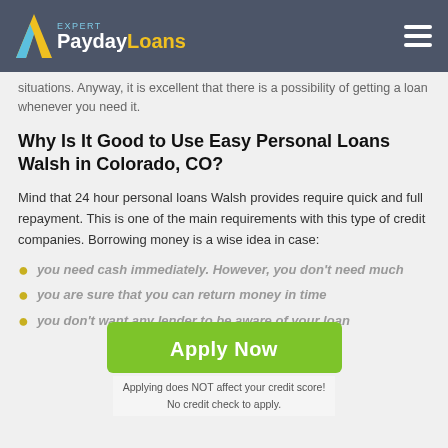Expert PaydayLoans
situations. Anyway, it is excellent that there is a possibility of getting a loan whenever you need it.
Why Is It Good to Use Easy Personal Loans Walsh in Colorado, CO?
Mind that 24 hour personal loans Walsh provides require quick and full repayment. This is one of the main requirements with this type of credit companies. Borrowing money is a wise idea in case:
you need cash immediately. However, you don't need much
you are sure that you can return money in time
you don't want any lender to be aware of your loan
Apply Now
Applying does NOT affect your credit score!
No credit check to apply.